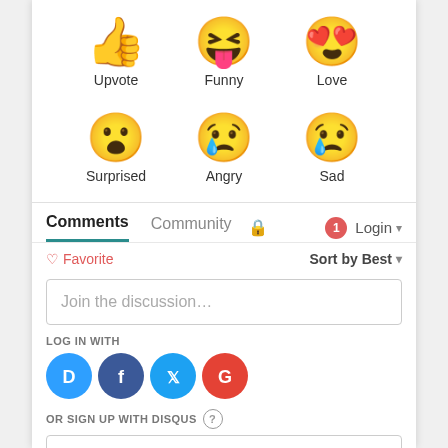[Figure (infographic): Six reaction emoji icons arranged in two rows: Upvote (thumbs up), Funny (laughing face with tongue), Love (heart eyes); Surprised (shocked face), Angry (crying face), Sad (sad face with tear)]
Comments  Community  🔒  1  Login
♡ Favorite  Sort by Best
Join the discussion...
LOG IN WITH
[Figure (infographic): Four social login buttons: Disqus (blue D), Facebook (dark blue f), Twitter (light blue bird), Google (red G)]
OR SIGN UP WITH DISQUS ?